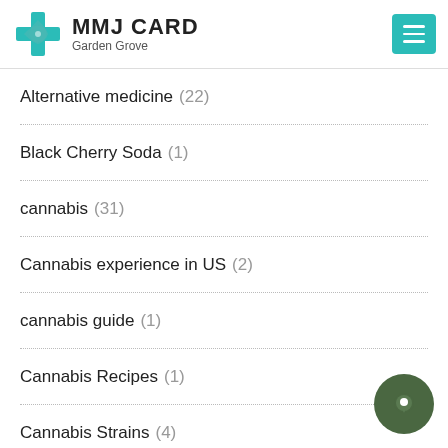MMJ CARD Garden Grove
Alternative medicine (22)
Black Cherry Soda (1)
cannabis (31)
Cannabis experience in US (2)
cannabis guide (1)
Cannabis Recipes (1)
Cannabis Strains (4)
Cannabis Tour (4)